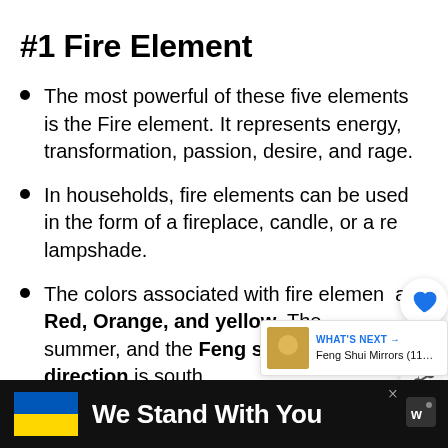#1 Fire Element
The most powerful of these five elements is the Fire element. It represents energy, transformation, passion, desire, and rage.
In households, fire elements can be used in the form of a fireplace, candle, or a red lampshade.
The colors associated with fire element are Red, Orange, and yellow. The season is summer, and the Feng shui element direction is south.
We Stand With You